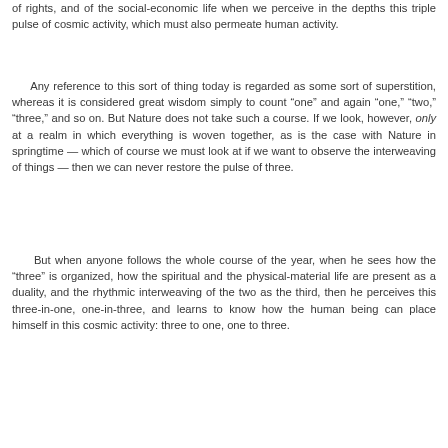of rights, and of the social-economic life when we perceive in the depths this triple pulse of cosmic activity, which must also permeate human activity.
Any reference to this sort of thing today is regarded as some sort of superstition, whereas it is considered great wisdom simply to count "one" and again "one," "two," "three," and so on. But Nature does not take such a course. If we look, however, only at a realm in which everything is woven together, as is the case with Nature in springtime — which of course we must look at if we want to observe the interweaving of things — then we can never restore the pulse of three.
But when anyone follows the whole course of the year, when he sees how the "three" is organized, how the spiritual and the physical-material life are present as a duality, and the rhythmic interweaving of the two as the third, then he perceives this three-in-one, one-in-three, and learns to know how the human being can place himself in this cosmic activity: three to one, one to three.